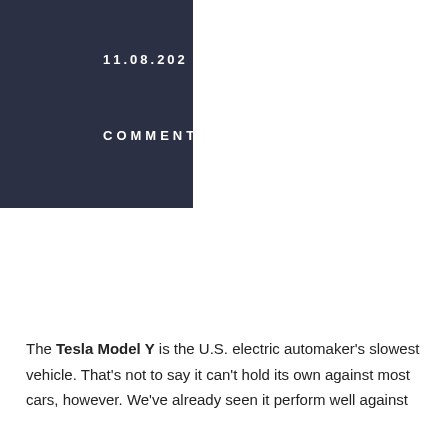[Figure (other): Dark navy blue rectangular block in upper left area of page, containing date '11.08.202' and label 'COMMENT' in white spaced letters]
The Tesla Model Y is the U.S. electric automaker's slowest vehicle. That's not to say it can't hold its own against most cars, however. We've already seen it perform well against